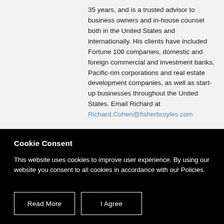35 years, and is a trusted advisor to business owners and in-house counsel both in the United States and internationally. His clients have included Fortune 100 companies, domestic and foreign commercial and investment banks, Pacific-rim corporations and real estate development companies, as well as start-up businesses throughout the United States. Email Richard at Richard.Cohen@fisherbroyles.com
Cookie Consent
This website uses cookies to improve user experience. By using our website you consent to all cookies in accordance with our Policies.